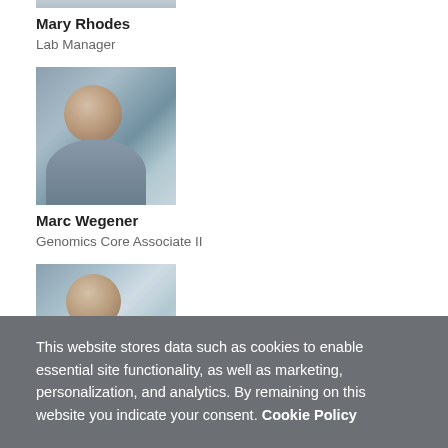[Figure (photo): Partial photo of Mary Rhodes (top cropped), lab setting background]
Mary Rhodes
Lab Manager
[Figure (photo): Headshot of Marc Wegener, smiling man with dark hair, lab setting with colorful tubes in background]
Marc Wegener
Genomics Core Associate II
[Figure (photo): Partial headshot of a third person, smiling man with brown hair, lab setting background]
This website stores data such as cookies to enable essential site functionality, as well as marketing, personalization, and analytics. By remaining on this website you indicate your consent. Cookie Policy